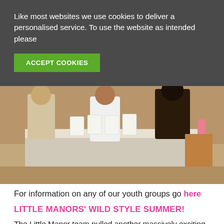Like most websites we use cookies to deliver a personalised service. To use the website as intended please
ACCEPT COOKIES
[Figure (photo): Photo of people standing around a white table with artwork/cards displayed on it, in an indoor setting with brick wall background.]
For information on any of our youth groups go here
LITTLE MANORS' WILD STYLE SUMMER!
The Little Manor team pulled another massively exciting, hugely adventurous, creative and down right zany summer out of the bag this year! Monday to Friday throughout the summer were every childs dream; activities included